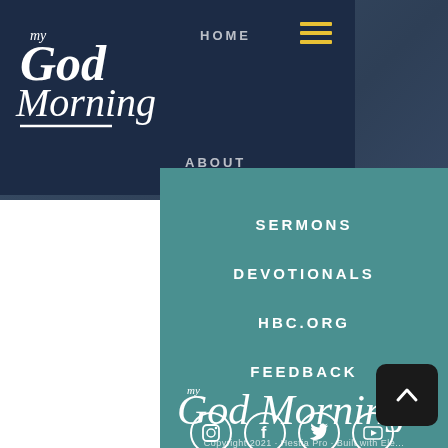[Figure (logo): myGod Morning script logo in white on dark navy header]
HOME
ABOUT
SERMONS
DEVOTIONALS
HBC.ORG
FEEDBACK
[Figure (logo): myGod Morning script logo in white on teal footer area]
[Figure (infographic): Social media icons: Instagram, Facebook, Twitter, YouTube - white circles on teal]
Copyright 2021 · Hestia Pro · Built with Ele...